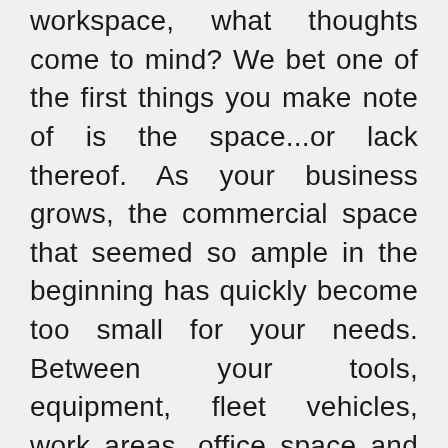workspace, what thoughts come to mind? We bet one of the first things you make note of is the space...or lack thereof. As your business grows, the commercial space that seemed so ample in the beginning has quickly become too small for your needs. Between your tools, equipment, fleet vehicles, work areas, office space and more, it would be nice to have a little breathing room, wouldn't it? You know you need an upgrade, but what's the best route? When looking for a new space, there are notable differences between buying commercial property versus leasing it. But, the real question is which is the better investment?